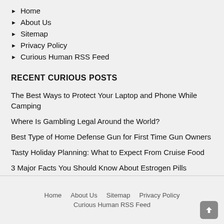Home
About Us
Sitemap
Privacy Policy
Curious Human RSS Feed
RECENT CURIOUS POSTS
The Best Ways to Protect Your Laptop and Phone While Camping
Where Is Gambling Legal Around the World?
Best Type of Home Defense Gun for First Time Gun Owners
Tasty Holiday Planning: What to Expect From Cruise Food
3 Major Facts You Should Know About Estrogen Pills
Home   About Us   Sitemap   Privacy Policy   Curious Human RSS Feed